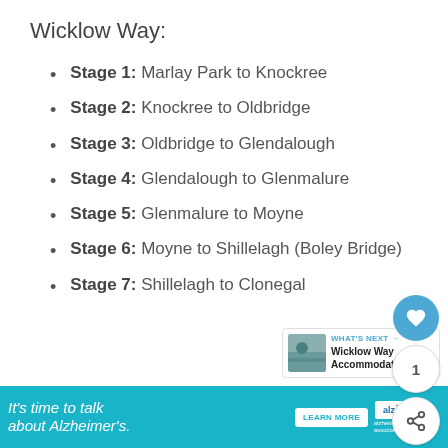Wicklow Way:
Stage 1: Marlay Park to Knockree
Stage 2: Knockree to Oldbridge
Stage 3: Oldbridge to Glendalough
Stage 4: Glendalough to Glenmalure
Stage 5: Glenmalure to Moyne
Stage 6: Moyne to Shillelagh (Boley Bridge)
Stage 7: Shillelagh to Clonegal
[Figure (screenshot): What's Next panel with thumbnail image and text 'Wicklow Way Accommodati...']
[Figure (infographic): Advertisement banner: It's time to talk about Alzheimer's. LEARN MORE. Alzheimer's Association logo.]